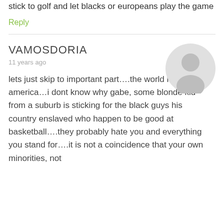stick to golf and let blacks or europeans play the game
Reply
VAMOSDORIA
11 years ago
[Figure (illustration): Generic grey user avatar circle]
lets just skip to important part….the world hates america…i dont know why gabe, some blonde kid from a suburb is sticking for the black guys his country enslaved who happen to be good at basketball….they probably hate you and everything you stand for….it is not a coincidence that your own minorities, not